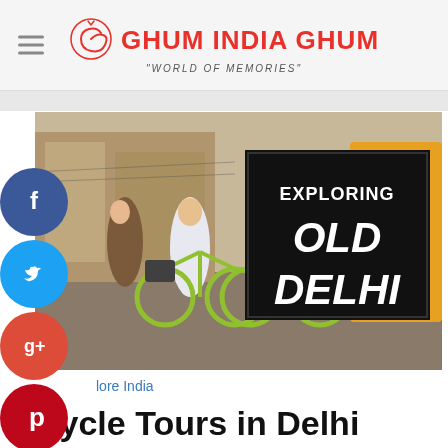Ghum India Ghum — "World of Memories"
[Figure (photo): Two women riding bicycles on a busy Old Delhi street, with text overlay 'Exploring Old Delhi' on a black background on the right side of the image. Social media icons (Facebook, Twitter, Google+, Pinterest, LinkedIn) overlay the left side.]
lore India
Cycle Tours in Delhi